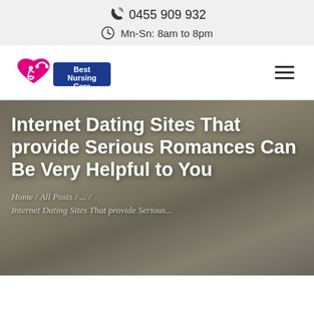0455 909 932 | Mn-Sn: 8am to 8pm
[Figure (logo): Best Nursing Care logo: pink heart with wheelchair accessibility icon and headset, blue rectangle with white text 'Best Nursing Care']
Internet Dating Sites That provide Serious Romances Can Be Very Helpful to You
Home / All Posts / ... / Internet Dating Sites That provide Serious...